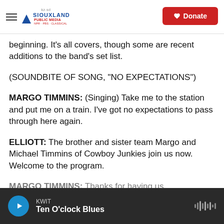Siouxland Public Media — Donate
beginning. It's all covers, though some are recent additions to the band's set list.
(SOUNDBITE OF SONG, "NO EXPECTATIONS")
MARGO TIMMINS: (Singing) Take me to the station and put me on a train. I've got no expectations to pass through here again.
ELLIOTT: The brother and sister team Margo and Michael Timmins of Cowboy Junkies join us now. Welcome to the program.
MARGO TIMMINS: Thanks for having us
KWIT — Ten O'clock Blues